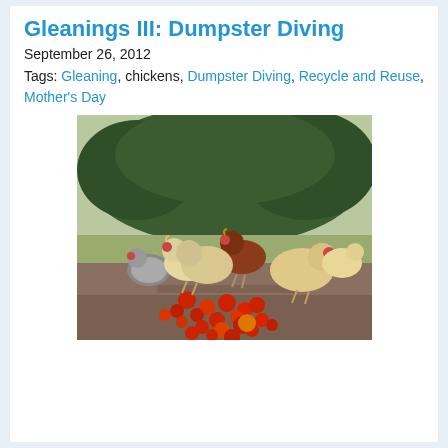Gleanings III: Dumpster Diving
September 26, 2012
Tags: Gleaning, chickens, Dumpster Diving, Recycle and Reuse, Mother's Day
[Figure (photo): Several chickens eating red tomatoes scattered on the ground outdoors, with trees and brush in the background.]